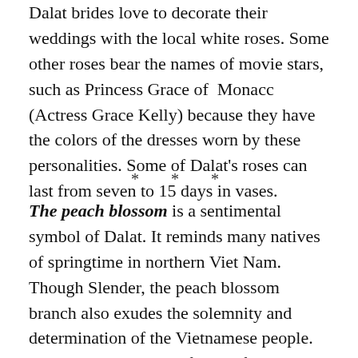Dalat brides love to decorate their weddings with the local white roses. Some other roses bear the names of movie stars, such as Princess Grace of Monacc (Actress Grace Kelly) because they have the colors of the dresses worn by these personalities. Some of Dalat's roses can last from seven to 15 days in vases.
* * *
The peach blossom is a sentimental symbol of Dalat. It reminds many natives of springtime in northern Viet Nam. Though Slender, the peach blossom branch also exudes the solemnity and determination of the Vietnamese people. Flower connoisseurs often prefer peach blossoms that are bright red as rubies. Years ago, Dalat used to have an entire forest of peach trees. Up until the 1970's, one could walk along Cam Ly Springs. It flowed slowly from Xuan Huong Lake in the west to a cliff and dropped abruptly to make a majestic waterfall. Tourists could then see the brilliantly red shawl of peach blossoms up on the Da Cat Hill each spring. That forest now only remains in the memory of Dalat elders